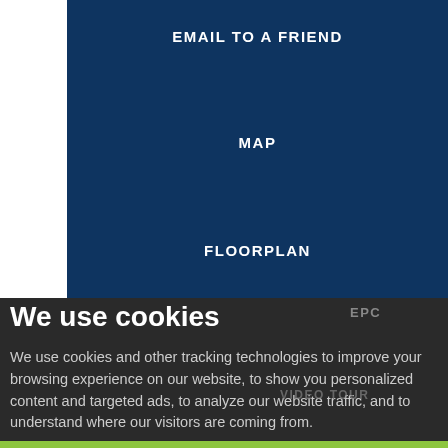EMAIL TO A FRIEND
MAP
FLOORPLAN
We use cookies
EPC
VIDEO TOUR
We use cookies and other tracking technologies to improve your browsing experience on our website, to show you personalized content and targeted ads, to analyze our website traffic, and to understand where our visitors are coming from.